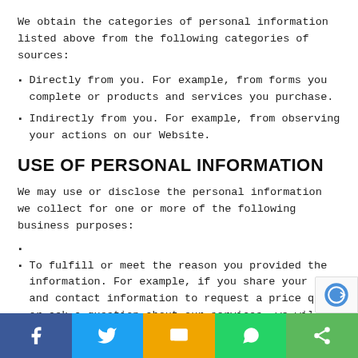We obtain the categories of personal information listed above from the following categories of sources:
Directly from you. For example, from forms you complete or products and services you purchase.
Indirectly from you. For example, from observing your actions on our Website.
USE OF PERSONAL INFORMATION
We may use or disclose the personal information we collect for one or more of the following business purposes:
To fulfill or meet the reason you provided the information. For example, if you share your name and contact information to request a price quote or ask a question about our services, we will use that personal information t